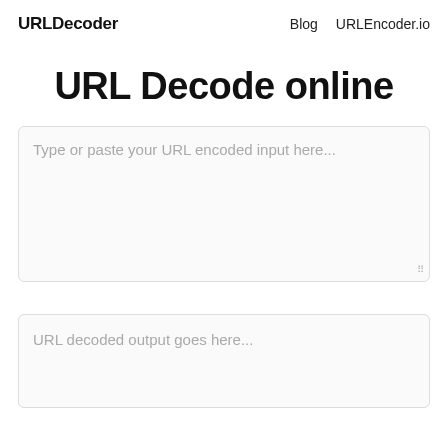URLDecoder   Blog   URLEncoder.io
URL Decode online
Type or paste your URL encoded input here...
URL decoded output goes here...